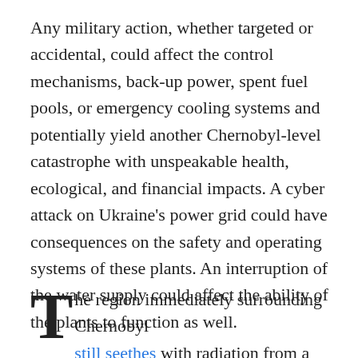Any military action, whether targeted or accidental, could affect the control mechanisms, back-up power, spent fuel pools, or emergency cooling systems and potentially yield another Chernobyl-level catastrophe with unspeakable health, ecological, and financial impacts. A cyber attack on Ukraine's power grid could have consequences on the safety and operating systems of these plants. An interruption of the water supply could affect the ability of the plants to function as well.
The region immediately surrounding Chernobyl still seethes with radiation from a disaster that